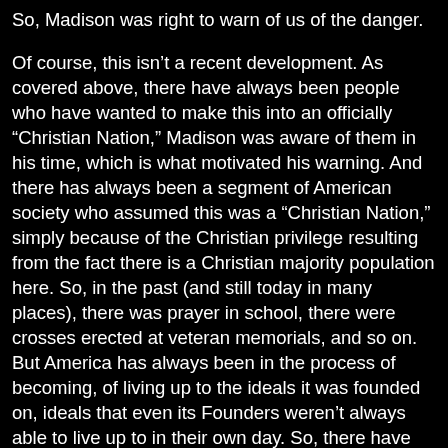So, Madison was right to warn of us of the danger.
Of course, this isn’t a recent development. As covered above, there have always been people who have wanted to make this into an officially “Christian Nation,” Madison was aware of them in his time, which is what motivated his warning. And there has always been a segment of American society who assumed this was a “Christian Nation,” simply because of the Christian privilege resulting from the fact there is a Christian majority population here. So, in the past (and still today in many places), there was prayer in school, there were crosses erected at veteran memorials, and so on. But America has always been in the process of becoming, of living up to the ideals it was founded on, ideals that even its Founders weren’t always able to live up to in their own day. So, there have been great strides made, but vigilance has to be eternal because the theocrats are highly motivated and determined to have their way even if it means violating the constitution, or